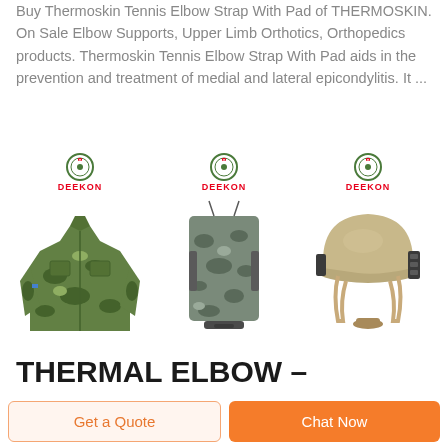Buy Thermoskin Tennis Elbow Strap With Pad of THERMOSKIN. On Sale Elbow Supports, Upper Limb Orthotics, Orthopedics products. Thermoskin Tennis Elbow Strap With Pad aids in the prevention and treatment of medial and lateral epicondylitis. It ...
[Figure (photo): Three military/tactical product images from DEEKON brand: camouflage jacket, camouflage bag/pouch, and tactical helmet]
THERMAL ELBOW –
thermoskin.co.uk